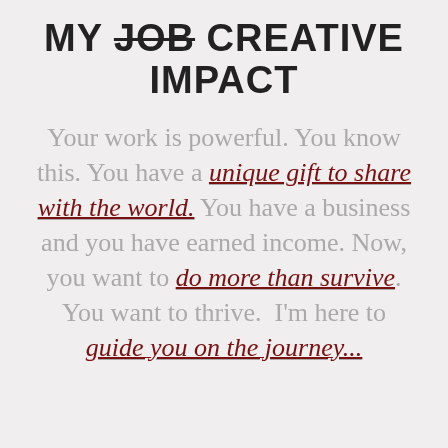MY JOB CREATIVE IMPACT
Your work is powerful. You know this. You have a unique gift to share with the world. You have a business and you have earned income. Now, you want to do more than survive. You want to thrive.  I'm here to guide you on the journey...